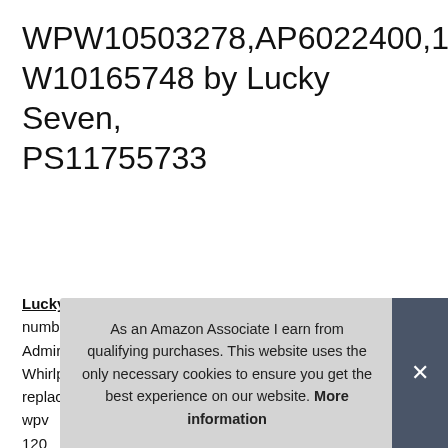WPW10503278,AP6022400,12784415, W10165748 by Lucky Seven, PS11755733
#ad
Lucky Seven #ad - This electronic control board part number wpw10503278 is for refrigerators, Jenn-Air, Amana, Admiral, Maytag, KitchenAid, Magic Chef, Compatible with: Whirlpool, Sears / Kenmore. W10503278 refrigerator control replaces wpv... 120... 120... 670... 67000265, 12000076, 1276-1119, 67005261, 6205187,
As an Amazon Associate I earn from qualifying purchases. This website uses the only necessary cookies to ensure you get the best experience on our website. More information